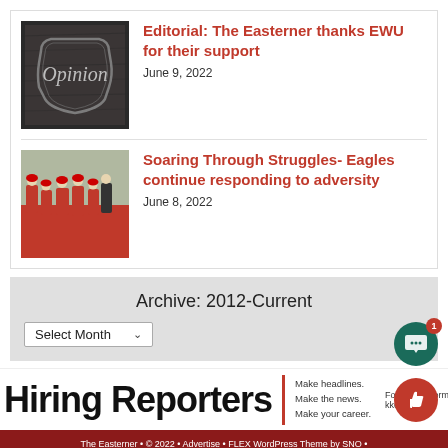[Figure (photo): Opinion sign on dark wood background with cursive 'Opinion' text]
Editorial: The Easterner thanks EWU for their support
June 9, 2022
[Figure (photo): Football players in red uniforms walking on red surface with coach]
Soaring Through Struggles- Eagles continue responding to adversity
June 8, 2022
Archive: 2012-Current
Select Month
Hiring Reporters | Make headlines. Make the news. Make your career. | For more information kkelly3...
The Easterner • © 2022 • Advertise • FLEX WordPress Theme by SNO •